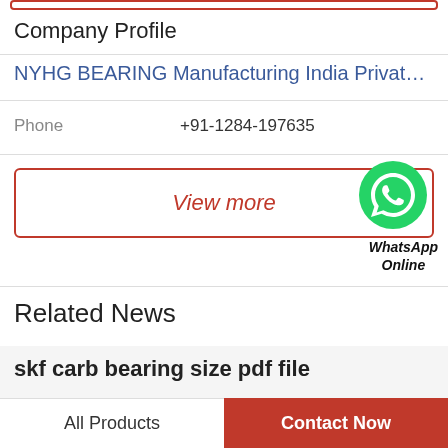Company Profile
NYHG BEARING Manufacturing India Private L…
Phone   +91-1284-197635
View more
[Figure (illustration): WhatsApp green circle logo icon with phone handset, labeled WhatsApp Online]
Related News
skf carb bearing size pdf file
Mounting and dismounting of SKF CARB toroidal roller bearingsNote: the video has speaker text in
All Products   Contact Now